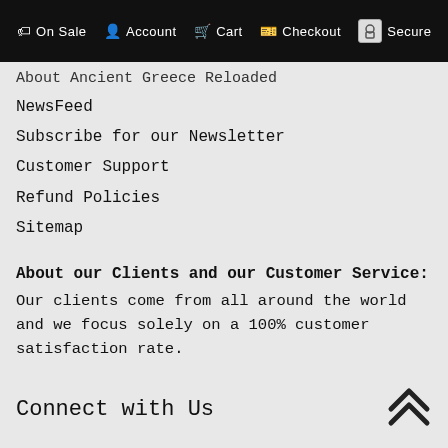On Sale  Account  Cart  Checkout  Secure
About Ancient Greece Reloaded
NewsFeed
Subscribe for our Newsletter
Customer Support
Refund Policies
Sitemap
About our Clients and our Customer Service:
Our clients come from all around the world and we focus solely on a 100% customer satisfaction rate.
Connect with Us
Doctrinum: The Social Media Platform of AGR
Forum
Online Library